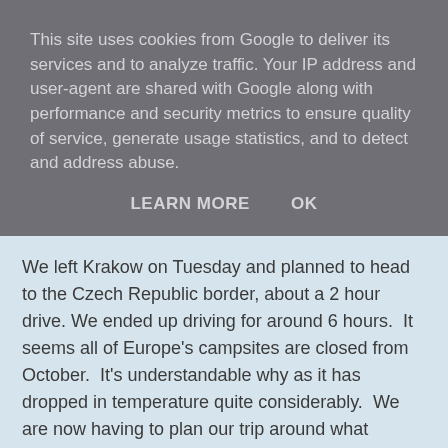This site uses cookies from Google to deliver its services and to analyze traffic. Your IP address and user-agent are shared with Google along with performance and security metrics to ensure quality of service, generate usage statistics, and to detect and address abuse.
LEARN MORE    OK
We left Krakow on Tuesday and planned to head to the Czech Republic border, about a 2 hour drive. We ended up driving for around 6 hours.  It seems all of Europe's campsites are closed from October.  It's understandable why as it has dropped in temperature quite considerably.  We are now having to plan our trip around what campsites are open which may mean stopping in places for longer than we usually do.
Next stop Austria.
Share